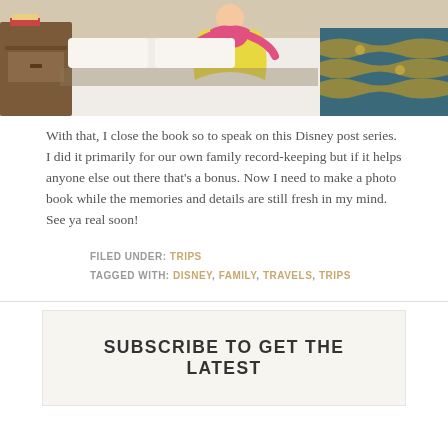[Figure (photo): A child dressed in a yellow princess costume sitting on a hotel room bed with a patterned blue and gold bedspread and a wooden nightstand visible on the left.]
With that, I close the book so to speak on this Disney post series. I did it primarily for our own family record-keeping but if it helps anyone else out there that's a bonus. Now I need to make a photo book while the memories and details are still fresh in my mind.
See ya real soon!
FILED UNDER: TRIPS
TAGGED WITH: DISNEY, FAMILY, TRAVELS, TRIPS
SUBSCRIBE TO GET THE LATEST